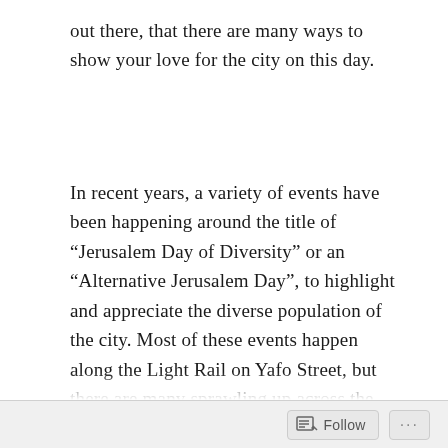out there, that there are many ways to show your love for the city on this day.
In recent years, a variety of events have been happening around the title of “Jerusalem Day of Diversity” or an “Alternative Jerusalem Day”, to highlight and appreciate the diverse population of the city. Most of these events happen along the Light Rail on Yafo Street, but there are many sprawling up across the entire city.
The video above is from one of these initiatives back in 2014 that I filmed/edited with my husband Rami, in collaboration with the wonderful, community-based artist group Muslala. The idea was to set up a few chairs near Binyan Klal/Davidka Light Rail Station on Yafo street, and invite anyone passing to come sit, talk
Follow ···